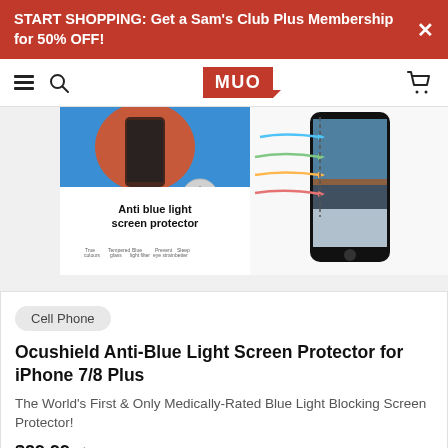START SHOPPING: Get a Sam's Club Plus Membership for 50% OFF!
[Figure (logo): MUO website logo in red with navigation bar including hamburger menu, search icon, and cart icon]
[Figure (photo): Ocushield Anti-Blue Light Screen Protector product image showing packaging and phone with blue light blocking waves]
Cell Phone
Ocushield Anti-Blue Light Screen Protector for iPhone 7/8 Plus
The World's First & Only Medically-Rated Blue Light Blocking Screen Protector!
$29.99  $46.99